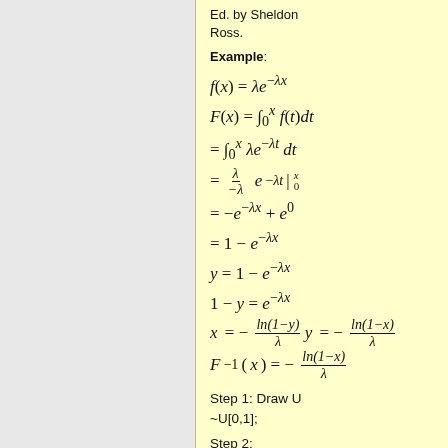Ed. by Sheldon Ross.
Example:
Step 1: Draw U ~U[0,1];
Step 2: